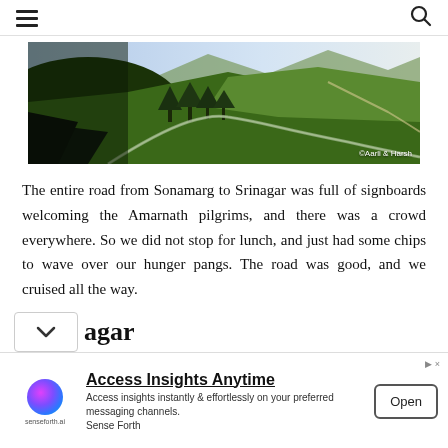☰  🔍
[Figure (photo): Panoramic mountain valley landscape, Sonamarg area, Kashmir — green hills, winding road, river, trees, with photo credit '©Aarli & Harsh']
The entire road from Sonamarg to Srinagar was full of signboards welcoming the Amarnath pilgrims, and there was a crowd everywhere. So we did not stop for lunch, and just had some chips to wave over our hunger pangs. The road was good, and we cruised all the way.
agar
[Figure (infographic): Advertisement banner: 'Access Insights Anytime' by senseforth.ai — logo, description text, and Open button]